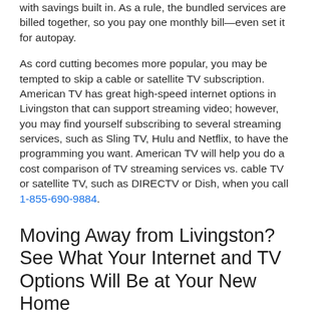with savings built in. As a rule, the bundled services are billed together, so you pay one monthly bill—even set it for autopay.
As cord cutting becomes more popular, you may be tempted to skip a cable or satellite TV subscription. American TV has great high-speed internet options in Livingston that can support streaming video; however, you may find yourself subscribing to several streaming services, such as Sling TV, Hulu and Netflix, to have the programming you want. American TV will help you do a cost comparison of TV streaming services vs. cable TV or satellite TV, such as DIRECTV or Dish, when you call 1-855-690-9884.
Moving Away from Livingston? See What Your Internet and TV Options Will Be at Your New Home